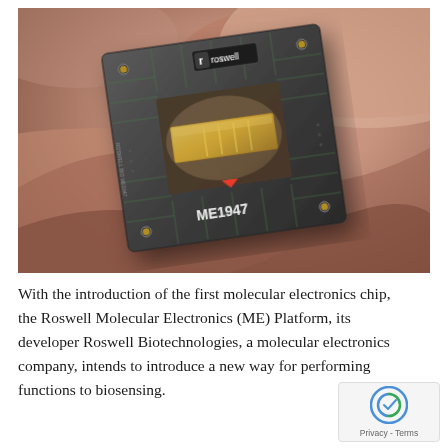[Figure (photo): A photograph of the Roswell Molecular Electronics (ME) chip labeled ME1947, a dark square circuit board with gold contacts in the center, featuring the Roswell logo, set against a warm rose/tan sculptural background.]
With the introduction of the first molecular electronics chip, the Roswell Molecular Electronics (ME) Platform, its developer Roswell Biotechnologies, a molecular electronics company, intends to introduce a new way for performing functions to biosensing.